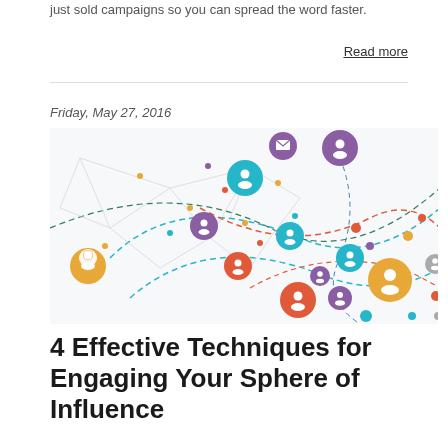just sold campaigns so you can spread the word faster.
Read more
Friday, May 27, 2016
[Figure (illustration): Network graph illustration showing interconnected people/user icons in orange, teal, purple, red, and gray colors connected by dashed and solid lines on a white background, representing a sphere of influence or social network.]
4 Effective Techniques for Engaging Your Sphere of Influence